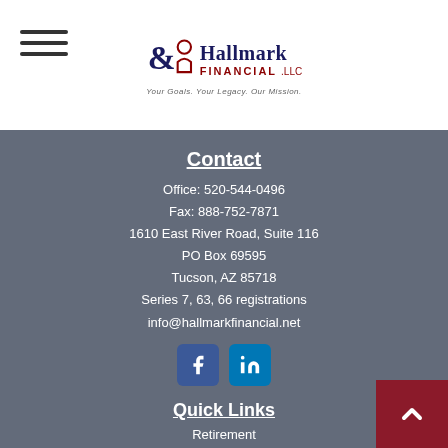[Figure (logo): Hallmark Financial LLC logo with ampersand symbol and tagline 'Your Goals. Your Legacy. Our Mission.']
Contact
Office: 520-544-0496
Fax: 888-752-7871
1610 East River Road, Suite 116
PO Box 69595
Tucson, AZ 85718
Series 7, 63, 66 registrations
info@hallmarkfinancial.net
Quick Links
Retirement